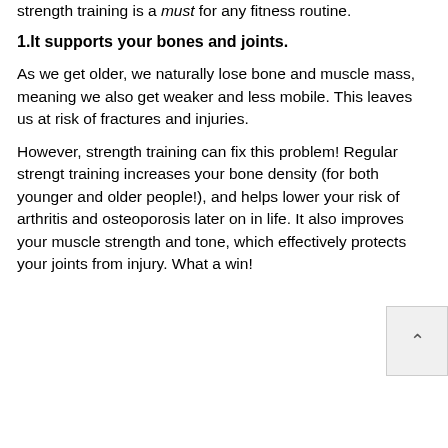strength training is a must for any fitness routine.
1.It supports your bones and joints.
As we get older, we naturally lose bone and muscle mass, meaning we also get weaker and less mobile. This leaves us at risk of fractures and injuries.
However, strength training can fix this problem! Regular strengt training increases your bone density (for both younger and older people!), and helps lower your risk of arthritis and osteoporosis later on in life. It also improves your muscle strength and tone, which effectively protects your joints from injury. What a win!